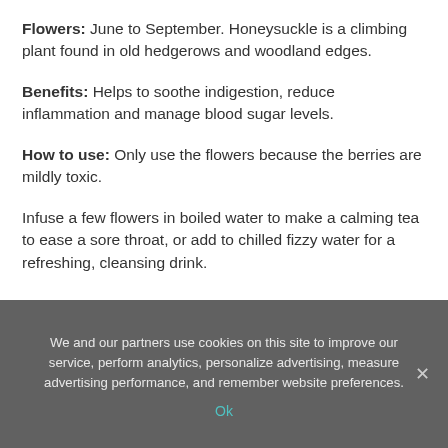Flowers: June to September. Honeysuckle is a climbing plant found in old hedgerows and woodland edges.
Benefits: Helps to soothe indigestion, reduce inflammation and manage blood sugar levels.
How to use: Only use the flowers because the berries are mildly toxic.
Infuse a few flowers in boiled water to make a calming tea to ease a sore throat, or add to chilled fizzy water for a refreshing, cleansing drink.
We and our partners use cookies on this site to improve our service, perform analytics, personalize advertising, measure advertising performance, and remember website preferences.
Ok